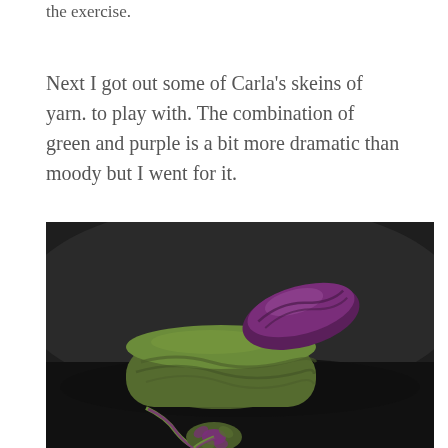the exercise.
Next I got out some of Carla's skeins of yarn. to play with. The combination of green and purple is a bit more dramatic than moody but I went for it.
[Figure (photo): Close-up photograph of crocheted yarn items in green and purple on a dark background. A large green crocheted cylinder shape sits in the foreground, with a smaller purple crocheted oval shape resting on top. Below in the foreground is a crocheted flower or medallion in green and purple with a braided cord tail.]